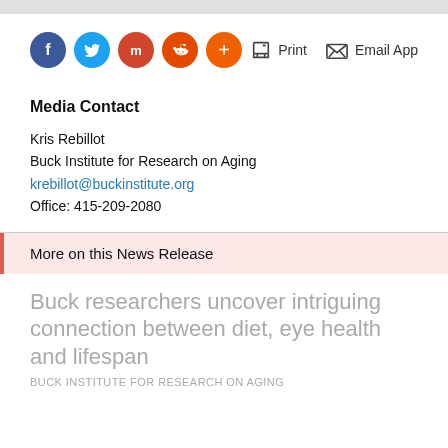[Figure (infographic): Social sharing icons: Facebook (blue), Twitter (light blue), Mix (dark red), Reddit (orange-red), plus button (orange). Print and Email App action buttons on the right.]
Media Contact
Kris Rebillot
Buck Institute for Research on Aging
krebillot@buckinstitute.org
Office: 415-209-2080
More on this News Release
Buck researchers uncover intriguing connection between diet, eye health and lifespan
BUCK INSTITUTE FOR RESEARCH ON AGING